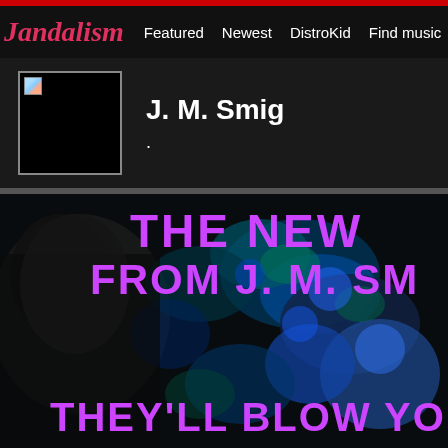Jandalism — Featured  Newest  DistroKid  Find music
J. M. Smig
[Figure (photo): Album promotional image with dark background featuring blue and teal abstract shapes with text overlays: 'THE NEW FROM J. M. SM' and 'THEY'LL BLOW YOUR MI' in magenta/purple bold letters]